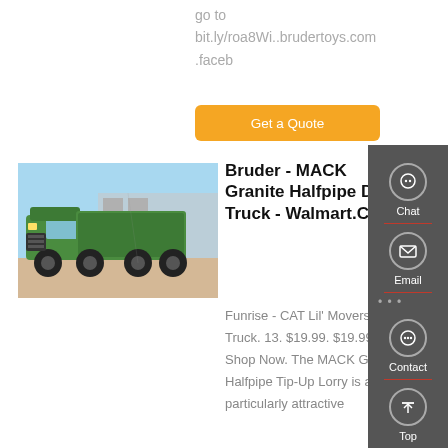go to bit.ly/roa8Wi..brudertoys.com .faceb
Get a Quote
[Figure (photo): Green dump truck parked outdoors]
Bruder - MACK Granite Halfpipe Dump Truck - Walmart.Com -
Funrise - CAT Lil' Movers Dump Truck. 13. $19.99. $19.99. Shop Now. The MACK Granite Halfpipe Tip-Up Lorry is a particularly attractive
Chat
Email
Contact
Top